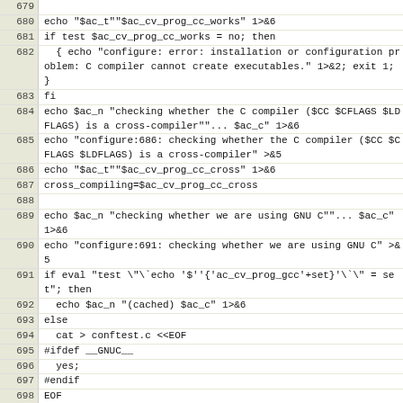| line | code |
| --- | --- |
| 679 |  |
| 680 | echo "$ac_t""$ac_cv_prog_cc_works" 1>&6 |
| 681 | if test $ac_cv_prog_cc_works = no; then |
| 682 |   { echo "configure: error: installation or configuration problem: C compiler cannot create executables." 1>&2; exit 1; } |
| 683 | fi |
| 684 | echo $ac_n "checking whether the C compiler ($CC $CFLAGS $LDFLAGS) is a cross-compiler""... $ac_c" 1>&6 |
| 685 | echo "configure:686: checking whether the C compiler ($CC $CFLAGS $LDFLAGS) is a cross-compiler" >&5 |
| 686 | echo "$ac_t""$ac_cv_prog_cc_cross" 1>&6 |
| 687 | cross_compiling=$ac_cv_prog_cc_cross |
| 688 |  |
| 689 | echo $ac_n "checking whether we are using GNU C""... $ac_c" 1>&6 |
| 690 | echo "configure:691: checking whether we are using GNU C" >&5 |
| 691 | if eval "test \"\`echo '$''{'ac_cv_prog_gcc'+set}'\`\" = set"; then |
| 692 |   echo $ac_n "(cached) $ac_c" 1>&6 |
| 693 | else |
| 694 |   cat > conftest.c <<EOF |
| 695 | #ifdef __GNUC__ |
| 696 |   yes; |
| 697 | #endif |
| 698 | EOF |
| 699 | if { ac_try='${CC-cc} -E conftest.c'; { (eval echo configure:700: \"$ac_try\") 1>&5; (eval $ac_try) 2>&5; }; } | egrep yes >/dev/null 2>&1; then |
| 700 |   ac_cv_prog_gcc=yes |
| 701 | else |
| 702 |   ac_cv_prog_gcc=no |
| 703 | fi |